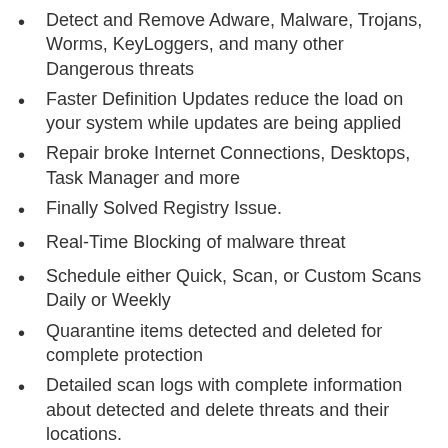Detect and Remove Adware, Malware, Trojans, Worms, KeyLoggers, and many other Dangerous threats
Faster Definition Updates reduce the load on your system while updates are being applied
Repair broke Internet Connections, Desktops, Task Manager and more
Finally Solved Registry Issue.
Real-Time Blocking of malware threat
Schedule either Quick, Scan, or Custom Scans Daily or Weekly
Quarantine items detected and deleted for complete protection
Detailed scan logs with complete information about detected and delete threats and their locations.
What's New?
Fixed a memory usage and stability issue affecting certain users